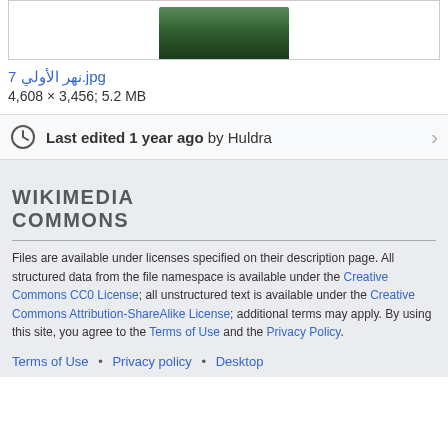[Figure (photo): Partial view of a river/nature photo at top of page]
نهر الأولي 7.jpg
4,608 × 3,456; 5.2 MB
Last edited 1 year ago by Huldra
WIKIMEDIA COMMONS
Files are available under licenses specified on their description page. All structured data from the file namespace is available under the Creative Commons CC0 License; all unstructured text is available under the Creative Commons Attribution-ShareAlike License; additional terms may apply. By using this site, you agree to the Terms of Use and the Privacy Policy.
Terms of Use • Privacy policy • Desktop